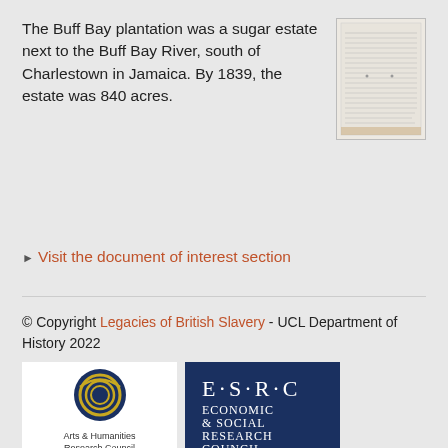The Buff Bay plantation was a sugar estate next to the Buff Bay River, south of Charlestown in Jamaica. By 1839, the estate was 840 acres.
[Figure (photo): A scanned historical document with handwritten or printed text, appearing aged and faded]
Visit the document of interest section
© Copyright Legacies of British Slavery - UCL Department of History 2022
[Figure (logo): Arts & Humanities Research Council logo with circular gold and blue design]
[Figure (logo): ESRC - Economic & Social Research Council logo, white text on dark blue background]
[Figure (logo): Hutchins Center for African & African American logo with H symbol]